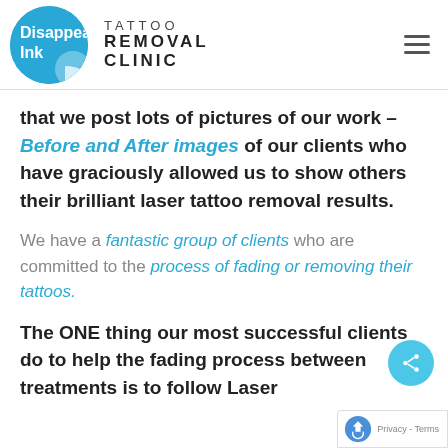[Figure (logo): Disappear Ink Tattoo Removal Clinic logo with circular blue sticker icon and text]
that we post lots of pictures of our work – Before and After images of our clients who have graciously allowed us to show others their brilliant laser tattoo removal results.
We have a fantastic group of clients who are committed to the process of fading or removing their tattoos.
The ONE thing our most successful clients do to help the fading process between treatments is to follow Laser